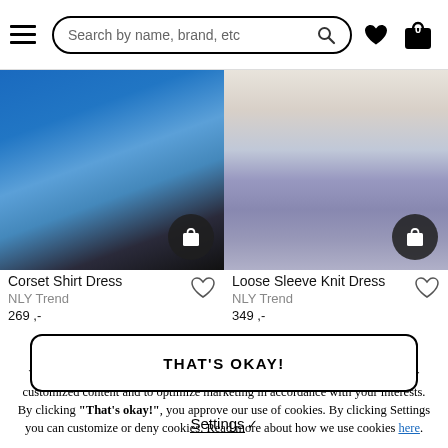Search by name, brand, etc
[Figure (photo): Corset Shirt Dress product photo showing blue bag and dark skirt]
[Figure (photo): Loose Sleeve Knit Dress product photo showing purple boots]
Corset Shirt Dress
NLY Trend
269 ,-
Loose Sleeve Knit Dress
NLY Trend
349 ,-
We use cookies
We use and analyze cookies in order to be able to provide you with personally customized content and to optimize marketing in accordance with your interests. By clicking "That's okay!", you approve our use of cookies. By clicking Settings you can customize or deny cookies. Read more about how we use cookies here.
THAT'S OKAY!
Settings